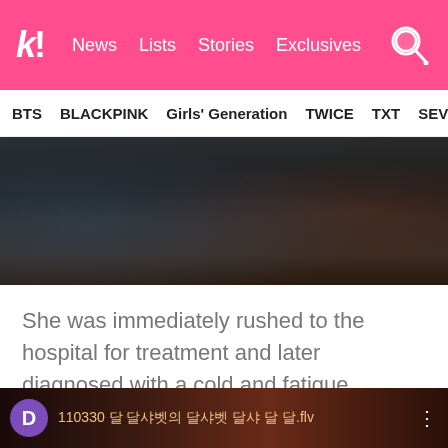k! News  Lists  Stories  Exclusives
BTS  BLACKPINK  Girls' Generation  TWICE  TXT  SEVE...
[Figure (photo): Dark blurry photo, appears to show a person in dim lighting with dark background]
She was immediately rushed to the hospital for treatment and later diagnosed with a cold and fatigue.
4. Subin (formerly of Dal Shabet)
[Figure (screenshot): Video thumbnail showing dark reddish background with a purple avatar circle with letter D and Korean text filename: 110330 달샤벳 달샤벳의 일상 달샤벳 첫 방송.flv]